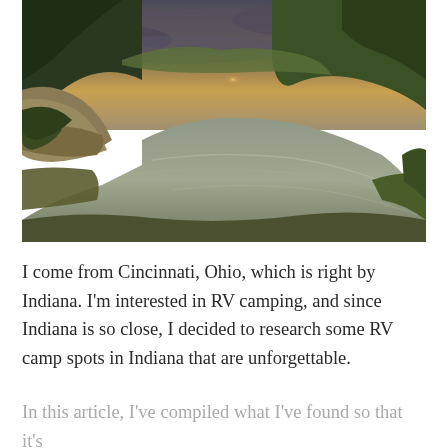[Figure (photo): Aerial view of a river winding through a lush forested ravine with limestone cliffs on the left, trees reflecting in the calm water, and a dramatic cloudy sunset sky overhead.]
I come from Cincinnati, Ohio, which is right by Indiana. I'm interested in RV camping, and since Indiana is so close, I decided to research some RV camp spots in Indiana that are unforgettable.
In this article, I've compiled what I've found so that it's